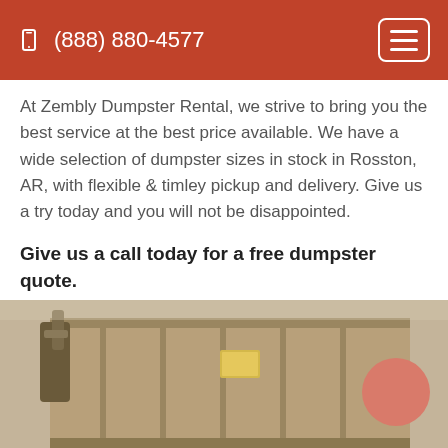(888) 880-4577
At Zembly Dumpster Rental, we strive to bring you the best service at the best price available. We have a wide selection of dumpster sizes in stock in Rosston, AR, with flexible & timley pickup and delivery. Give us a try today and you will not be disappointed.
Give us a call today for a free dumpster quote. (888) 880-4577
Want to order online? Check out our friends below!
[Figure (photo): Photo of a large metal roll-off dumpster container, tan/brown colored, viewed from the front-left angle showing the handles and side panels.]